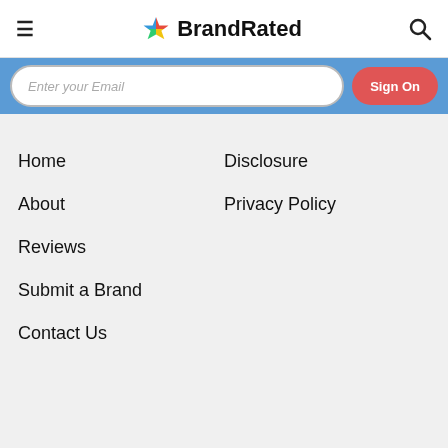BrandRated
Enter your Email | Sign On
Home
Disclosure
About
Privacy Policy
Reviews
Submit a Brand
Contact Us